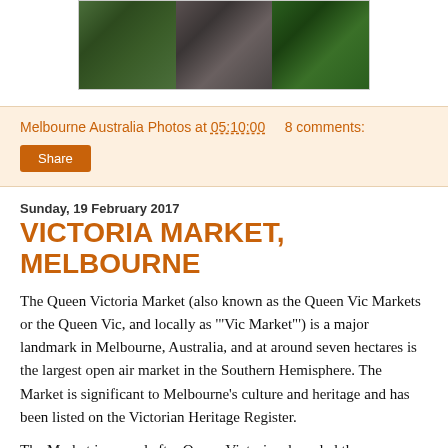[Figure (photo): A collage of three nature photos: green moss/plants on the left, dark stones/rocks in the center, and large green leaves on the right, shown in a bordered rectangular container.]
Melbourne Australia Photos at 05:10:00    8 comments:
Share
Sunday, 19 February 2017
VICTORIA MARKET, MELBOURNE
The Queen Victoria Market (also known as the Queen Vic Markets or the Queen Vic, and locally as '"Vic Market"') is a major landmark in Melbourne, Australia, and at around seven hectares is the largest open air market in the Southern Hemisphere. The Market is significant to Melbourne's culture and heritage and has been listed on the Victorian Heritage Register.
The Market is named after Queen Victoria who ruled the